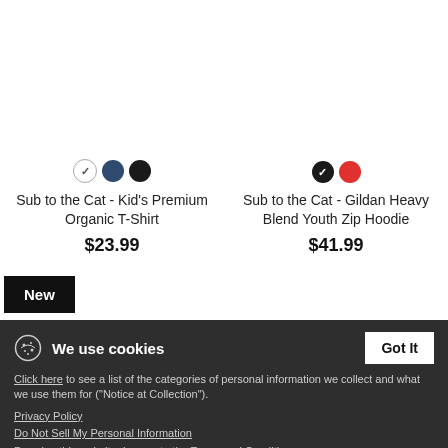[Figure (other): Product listing: Sub to the Cat - Kid's Premium Organic T-Shirt with color swatches (white selected, navy, black), price $23.99]
[Figure (other): Product listing: Sub to the Cat - Gildan Heavy Blend Youth Zip Hoodie with color swatches (black selected, red), price $41.99]
New
We use cookies
Got It
Click here to see a list of the categories of personal information we collect and what we use them for ("Notice at Collection").
Privacy Policy
Do Not Sell My Personal Information
By using this website, I agree to the Terms and Conditions